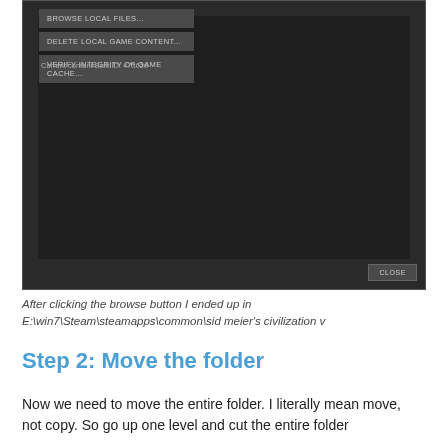[Figure (screenshot): Steam game properties dialog showing dark UI with buttons: DELETE LOCAL GAME CONTENT..., VERIFY INTEGRITY OF GAME CACHE..., text 'Current content BuildID: 473626', and a CLOSE button at bottom right.]
After clicking the browse button I ended up in E:\win7\Steam\steamapps\common\sid meier's civilization v
Step 2: Move the folder
Now we need to move the entire folder. I literally mean move, not copy. So go up one level and cut the entire folder